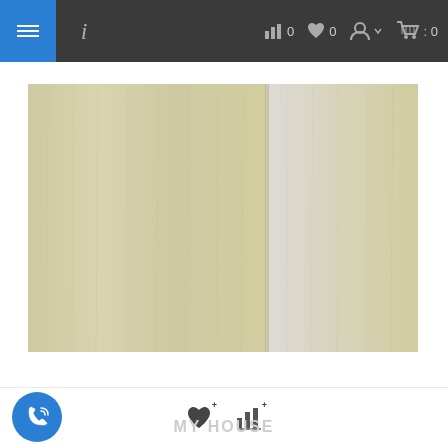Navigation bar with menu, info, stats (0), favorites (0), account, cart (0)
[Figure (photo): Two-panel wood veneer texture product image showing light beige/cream colored wood grain panels side by side, with a visible seam in the middle]
[Figure (other): Bottom toolbar with phone call button (blue circle with phone icon), heart/favorite icon with plus, bar chart icon with plus, and MY HOUSE watermark text]